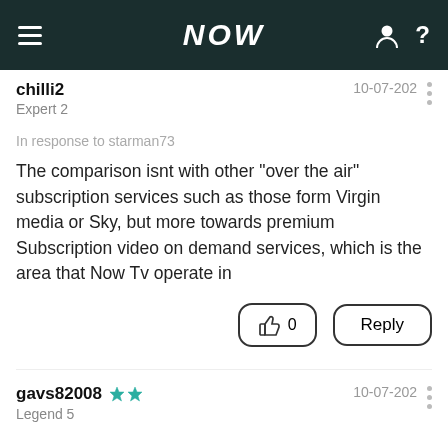NOW
chilli2
Expert 2
10-07-202
In response to starman73
The comparison isnt with other "over the air" subscription services such as those form Virgin media or Sky, but more towards premium  Subscription video on demand services, which is the area that Now Tv operate in
gavs82008
Legend 5
10-07-202